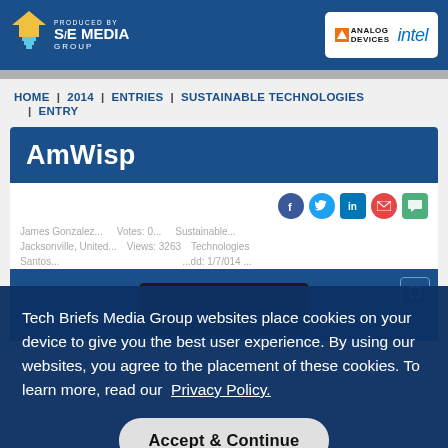Design Contest | Produced by SAE Media Group | Analog Devices | Intel
HOME | 2014 | ENTRIES | SUSTAINABLE TECHNOLOGIES | ENTRY
AmWisp
[Figure (screenshot): Social sharing icons: Facebook, Twitter, LinkedIn, Email, Chat]
Tech Briefs Media Group websites place cookies on your device to give you the best user experience. By using our websites, you agree to the placement of these cookies. To learn more, read our Privacy Policy.
Accept & Continue